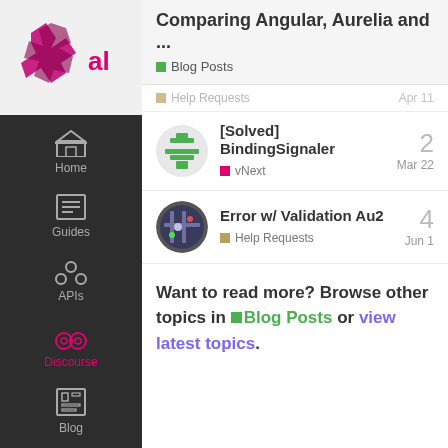Comparing Angular, Aurelia and ...
Blog Posts
Help Requests — Apr 11
[Solved] BindingSignaler — vNext — Mar 22 — 2 replies
Error w/ Validation Au2 — Help Requests — Jun 1 — 4 replies
Want to read more? Browse other topics in Blog Posts or view latest topics.